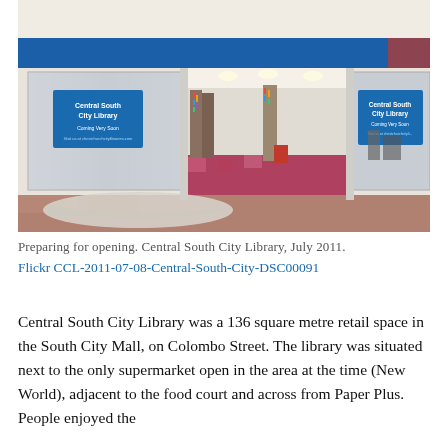[Figure (photo): Interior of Central South City Library under preparation before opening. Shows glass-fronted retail space in a mall with blue signage reading 'Central South City Library – Coming Very Soon' on frosted panels, bookshelves visible inside, red and pink patterned carpet flooring, a drop cloth on the floor outside.]
Preparing for opening. Central South City Library, July 2011.
Flickr CCL-2011-07-08-Central-South-City-DSC00091
Central South City Library was a 136 square metre retail space in the South City Mall, on Colombo Street. The library was situated next to the only supermarket open in the area at the time (New World), adjacent to the food court and across from Paper Plus. People enjoyed the